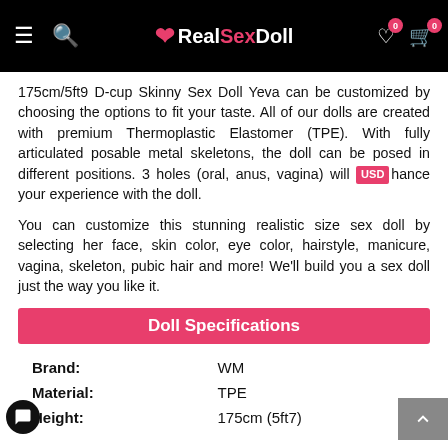RealSexDoll website header with navigation icons and logo
175cm/5ft9 D-cup Skinny Sex Doll Yeva can be customized by choosing the options to fit your taste. All of our dolls are created with premium Thermoplastic Elastomer (TPE). With fully articulated posable metal skeletons, the doll can be posed in different positions. 3 holes (oral, anus, vagina) will enhance your experience with the doll.
You can customize this stunning realistic size sex doll by selecting her face, skin color, eye color, hairstyle, manicure, vagina, skeleton, pubic hair and more! We'll build you a sex doll just the way you like it.
Doll Specifications
| Property | Value |
| --- | --- |
| Brand: | WM |
| Material: | TPE |
| Height: | 175cm (5ft7) |